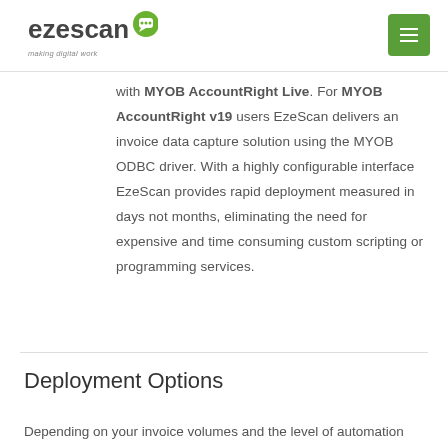ezescan - making digital work
with MYOB AccountRight Live. For MYOB AccountRight v19 users EzeScan delivers an invoice data capture solution using the MYOB ODBC driver. With a highly configurable interface EzeScan provides rapid deployment measured in days not months, eliminating the need for expensive and time consuming custom scripting or programming services.
Deployment Options
Depending on your invoice volumes and the level of automation